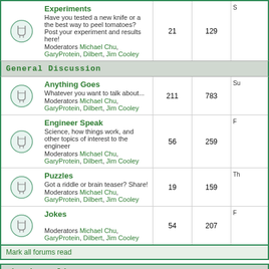| Forum | Topics | Posts | Last Post |
| --- | --- | --- | --- |
| Experiments
Have you tested a new knife or a the best way to peel tomatoes? Post your experiment and results here!
Moderators Michael Chu, GaryProtein, Dilbert, Jim Cooley | 21 | 129 | S... |
General Discussion
| Forum | Topics | Posts | Last Post |
| --- | --- | --- | --- |
| Anything Goes
Whatever you want to talk about...
Moderators Michael Chu, GaryProtein, Dilbert, Jim Cooley | 211 | 783 | Su... |
| Engineer Speak
Science, how things work, and other topics of interest to the engineer
Moderators Michael Chu, GaryProtein, Dilbert, Jim Cooley | 56 | 259 | F... |
| Puzzles
Got a riddle or brain teaser? Share!
Moderators Michael Chu, GaryProtein, Dilbert, Jim Cooley | 19 | 159 | Th... |
| Jokes
Moderators Michael Chu, GaryProtein, Dilbert, Jim Cooley | 54 | 207 | F... |
Mark all forums read
Who is Online
Our users have posted a total of 23255 articles
We have 60020 registered users
The newest registered user is Ralf Pi
In total there are 35 users online :: 0 Registered, 0 Hidden and 35 Guests [ Admin... ]
Most users ever online was 455 on Wed Jul 08, 2020 6:48 am